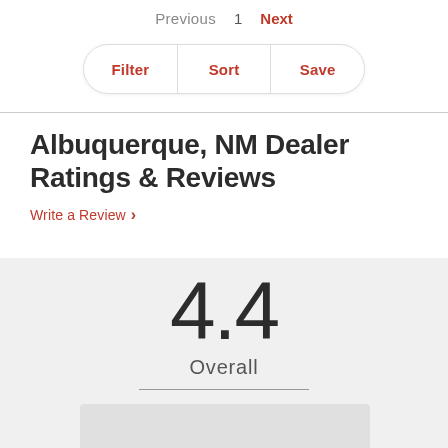Previous  1  Next
Filter  |  Sort  |  Save
Albuquerque, NM Dealer Ratings & Reviews
Write a Review >
4.4
Overall